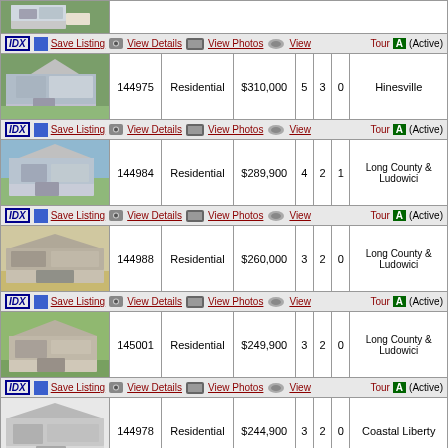| Photo | ID | Type | Price | Bd | Ba | Hba | Location |
| --- | --- | --- | --- | --- | --- | --- | --- |
| [photo] |  |  |  |  |  |  |  |
| [actions] | Save Listing | View Details | View Photos | View Tour | A (Active) |  |  |
| [photo] | 144975 | Residential | $310,000 | 5 | 3 | 0 | Hinesville |
| [actions] | Save Listing | View Details | View Photos | View Tour | A (Active) |  |  |
| [photo] | 144984 | Residential | $289,900 | 4 | 2 | 1 | Long County & Ludowici |
| [actions] | Save Listing | View Details | View Photos | View Tour | A (Active) |  |  |
| [photo] | 144988 | Residential | $260,000 | 3 | 2 | 0 | Long County & Ludowici |
| [actions] | Save Listing | View Details | View Photos | View Tour | A (Active) |  |  |
| [photo] | 145001 | Residential | $249,900 | 3 | 2 | 0 | Long County & Ludowici |
| [actions] | Save Listing | View Details | View Photos | View Tour | A (Active) |  |  |
| [photo] | 144978 | Residential | $244,900 | 3 | 2 | 0 | Coastal Liberty |
| [actions] | Save Listing | View Details | A (Active) |  |  |  |  |
| [photo] |  |  |  |  |  |  |  |